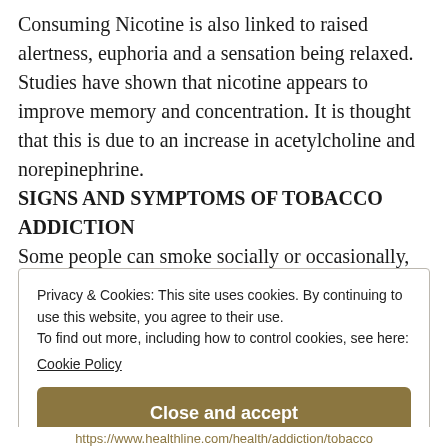Consuming Nicotine is also linked to raised alertness, euphoria and a sensation being relaxed. Studies have shown that nicotine appears to improve memory and concentration. It is thought that this is due to an increase in acetylcholine and norepinephrine.
SIGNS AND SYMPTOMS OF TOBACCO ADDICTION
Some people can smoke socially or occasionally, but others become addicted. An addiction may be present if the person;
Privacy & Cookies: This site uses cookies. By continuing to use this website, you agree to their use.
To find out more, including how to control cookies, see here:
Cookie Policy
Close and accept
https://www.healthline.com/health/addiction/tobacco